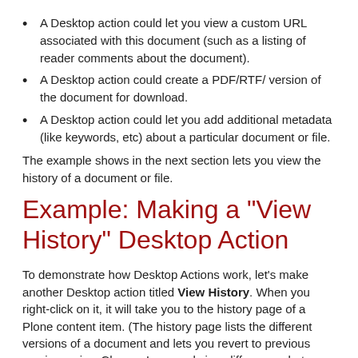A Desktop action could let you view a custom URL associated with this document (such as a listing of reader comments about the document).
A Desktop action could create a PDF/RTF/ version of the document for download.
A Desktop action could let you add additional metadata (like keywords, etc) about a particular document or file.
The example shows in the next section lets you view the history of a document or file.
Example: Making a "View History" Desktop Action
To demonstrate how Desktop Actions work, let's make another Desktop action titled View History. When you right-click on it, it will take you to the history page of a Plone content item. (The history page lists the different versions of a document and lets you revert to previous versions, view Change Logs and view differences between versions. (See this important note about